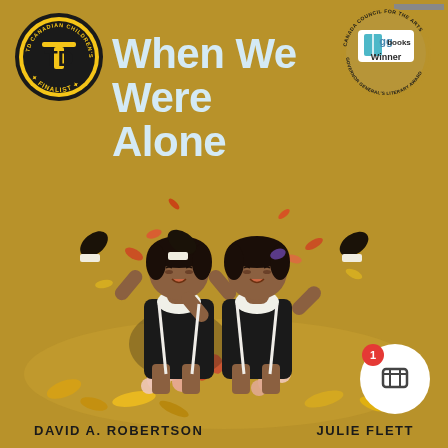[Figure (illustration): Book cover of 'When We Were Alone' by David A. Robertson and Julie Flett. Gold/mustard background with two Indigenous children in dark school uniforms lying in a pile of autumn leaves and flowers, kicking their feet up joyfully. TD Canadian Children's Literature Award Finalist badge in upper left. GG Books Winner badge in upper right. Shopping cart button with red badge showing '1' in lower right.]
When We Were Alone
DAVID A. ROBERTSON    JULIE FLETT